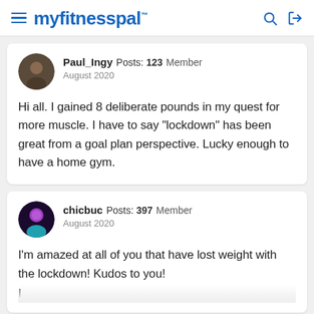myfitnesspal
Paul_Ingy  Posts: 123  Member
August 2020
Hi all. I gained 8 deliberate pounds in my quest for more muscle. I have to say "lockdown" has been great from a goal plan perspective. Lucky enough to have a home gym.
chicbuc  Posts: 397  Member
August 2020
I'm amazed at all of you that have lost weight with the lockdown! Kudos to you!